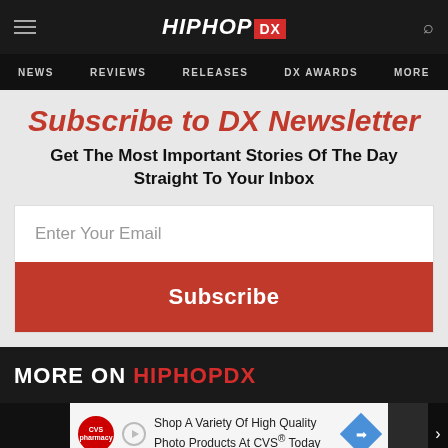HIPHOP DX — NEWS | REVIEWS | RELEASES | DX AWARDS | MORE
Subscribe to DX Newsletter
Get The Most Important Stories Of The Day Straight To Your Inbox
Enter Your Email
Subscribe
MORE ON HIPHOPDX
[Figure (screenshot): Bottom image strip with dark thumbnail on left, CVS Pharmacy advertisement banner in center ('Shop A Variety Of High Quality Photo Products At CVS® Today'), and partial image on right with text 'LYN']